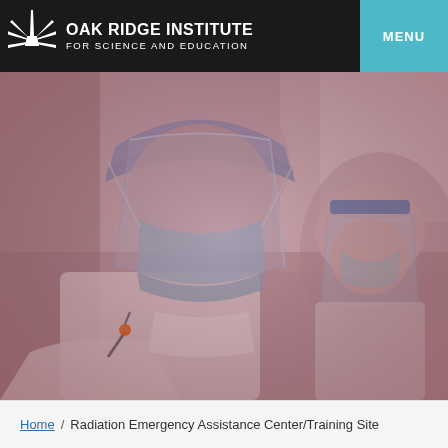Oak Ridge Institute for Science and Education | MENU
[Figure (photo): Two healthcare workers wearing surgical masks, face shields, and white lab coats, shown from a close-up angle working in a medical or laboratory setting. The image has a reddish-pink tint overlay.]
Home / Radiation Emergency Assistance Center/Training Site